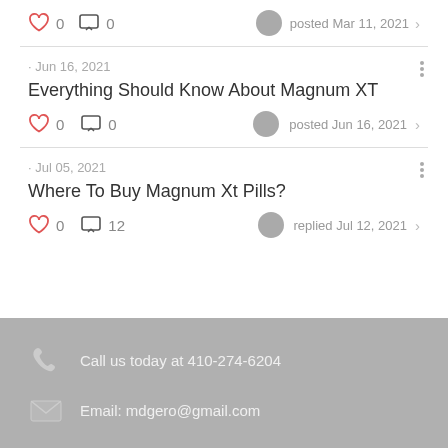0  0  posted Mar 11, 2021
- Jun 16, 2021
Everything Should Know About Magnum XT
0  0  posted Jun 16, 2021
- Jul 05, 2021
Where To Buy Magnum Xt Pills?
0  12  replied Jul 12, 2021
Call us today at 410-274-6204
Email: mdgero@gmail.com